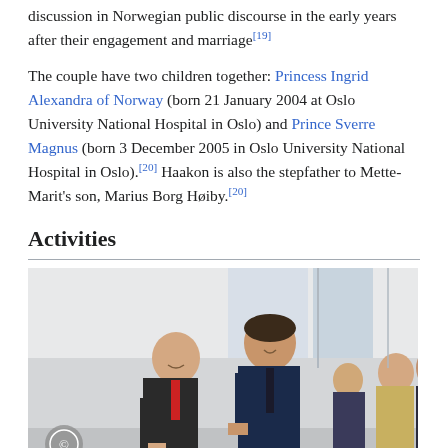discussion in Norwegian public discourse in the early years after their engagement and marriage[19]
The couple have two children together: Princess Ingrid Alexandra of Norway (born 21 January 2004 at Oslo University National Hospital in Oslo) and Prince Sverre Magnus (born 3 December 2005 in Oslo University National Hospital in Oslo).[20] Haakon is also the stepfather to Mette-Marit's son, Marius Borg Høiby.[20]
Activities
[Figure (photo): Photo of Haakon with then-Brazilian Vice President Michel Temer and others at the Itamaraty Palace in Brasília, Brazil, 16 November 2015]
Haakon with then-Brazilian Vice President Michel Temer at the Itamaraty Palace in Brasília, Brazil, 16 November 2015